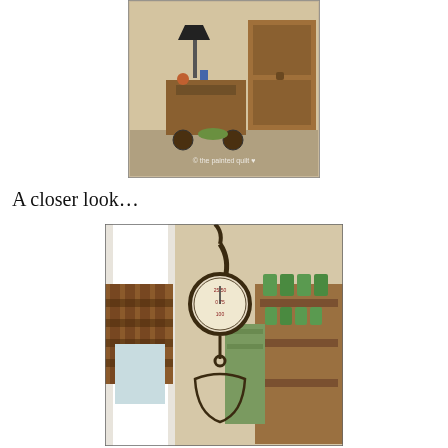[Figure (photo): Interior room photo showing a wooden tea cart with a black lamp, wooden cabinet/hutch, and decorative items. Watermark reads '© the painted quilt' with a heart symbol.]
A closer look…
[Figure (photo): Close-up photo of a vintage hanging scale with a round dial face, suspended by a metal hook. In the background are green mason jars on a wooden shelf and a plaid curtain near a door.]